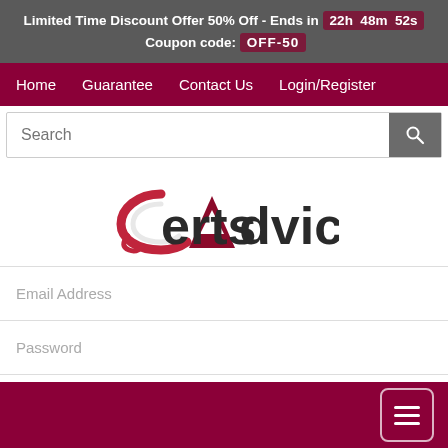Limited Time Discount Offer 50% Off - Ends in 22h 48m 52s Coupon code: OFF-50
Home   Guarantee   Contact Us   Login/Register
[Figure (logo): CertsAdvice logo with stylized C and triangle A]
Email Address
Password
Sign In